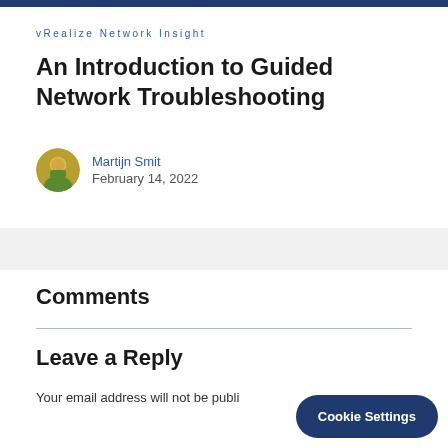vRealize Network Insight
An Introduction to Guided Network Troubleshooting
Martijn Smit
February 14, 2022
Comments
Leave a Reply
Your email address will not be publi…
Cookie Settings